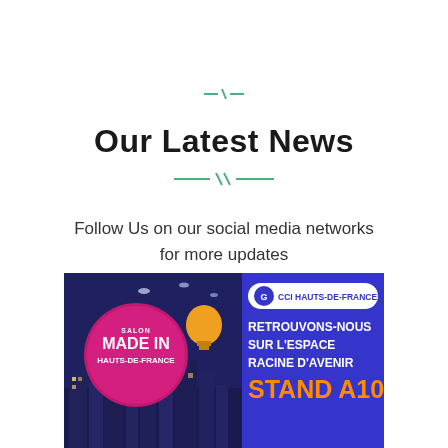Our Latest News
Follow Us on our social media networks for more updates
[Figure (illustration): Promotional banner for Salon Made In Hauts-de-France event by CCI Hauts-de-France. Blue background with illustrated cityscape on the left showing landmarks, a pink circular badge saying 'Salon Made In Hauts-de-France', a lightbulb illustration, birds. Right side shows white pill-shaped CCI Hauts-de-France logo badge and text 'RETROUVONS-NOUS SUR L'ESPACE RACINE D'AVENIR STAND A10' in white and orange.]